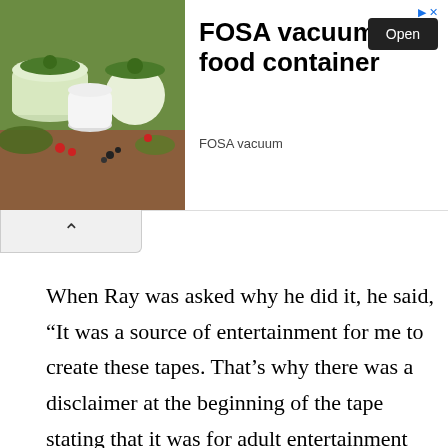[Figure (advertisement): Ad banner for FOSA vacuum food container. Left half shows a photo of green vacuum food containers with vegetables and ingredients. Right half shows bold text 'FOSA vacuum food container', 'FOSA vacuum' subtitle, and an 'Open' button. Arrow indicator in top right.]
When Ray was asked why he did it, he said, “It was a source of entertainment for me to create these tapes. That’s why there was a disclaimer at the beginning of the tape stating that it was for adult entertainment only.” Once taken into custody, Cindy Hendy took no time in turning against Ray in a plea deal which was concerned with a reduced sentence. She accepted the deal and talked in exchange for lesser time in prison. She told